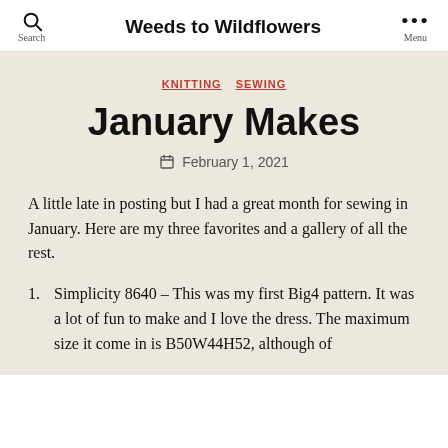Search | Weeds to Wildflowers | Menu
KNITTING  SEWING
January Makes
February 1, 2021
A little late in posting but I had a great month for sewing in January. Here are my three favorites and a gallery of all the rest.
Simplicity 8640 – This was my first Big4 pattern. It was a lot of fun to make and I love the dress. The maximum size it come in is B50W44H52, although of